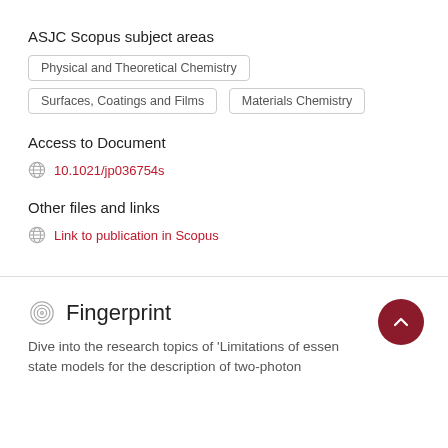ASJC Scopus subject areas
Physical and Theoretical Chemistry
Surfaces, Coatings and Films
Materials Chemistry
Access to Document
10.1021/jp036754s
Other files and links
Link to publication in Scopus
Fingerprint
Dive into the research topics of 'Limitations of essential state models for the description of two-photon